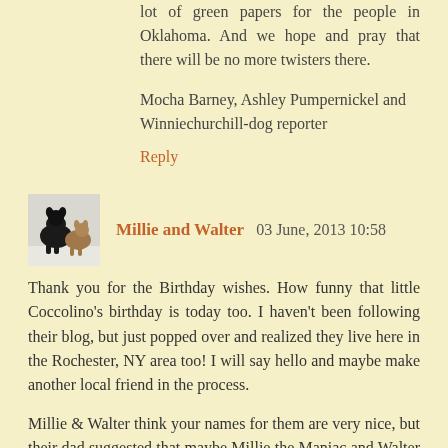lot of green papers for the people in Oklahoma. And we hope and pray that there will be no more twisters there.
Mocha Barney, Ashley Pumpernickel and Winniechurchill-dog reporter
Reply
Millie and Walter  03 June, 2013 10:58
[Figure (photo): Avatar photo of two dogs, one black and one tan/brown, in a snowy outdoor setting]
Thank you for the Birthday wishes. How funny that little Coccolino's birthday is today too. I haven't been following their blog, but just popped over and realized they live here in the Rochester, NY area too! I will say hello and maybe make another local friend in the process.
Millie & Walter think your names for them are very nice, but their dad suggested that maybe Millie the Maniac and Walter the Whizzer might be more appropriate.
I can't wait to see which logo design is selected.